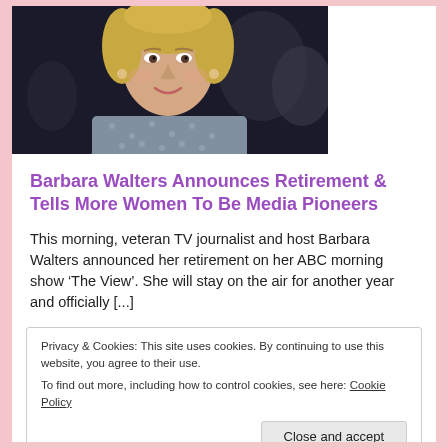[Figure (photo): Portrait photo of Barbara Walters, a woman with short blonde hair wearing a patterned gray top, photographed against a dark background]
Barbara Walters Announces Retirement & Tells More Women To Be Media Pioneers
This morning, veteran TV journalist and host Barbara Walters announced her retirement on her ABC morning show ‘The View’. She will stay on the air for another year and officially [...]
Privacy & Cookies: This site uses cookies. By continuing to use this website, you agree to their use.
To find out more, including how to control cookies, see here: Cookie Policy
Close and accept